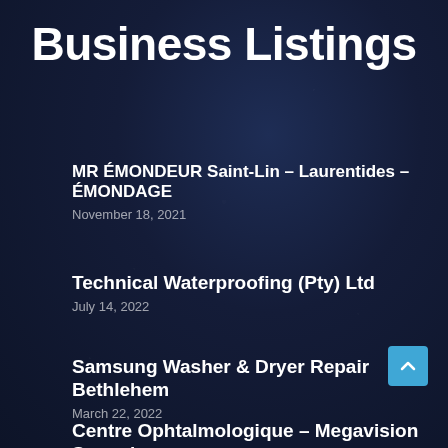Business Listings
MR ÉMONDEUR Saint-Lin – Laurentides – ÉMONDAGE
November 18, 2021
Technical Waterproofing (Pty) Ltd
July 14, 2022
Samsung Washer & Dryer Repair Bethlehem
March 22, 2022
Centre Ophtalmologique – Megavision Sannois